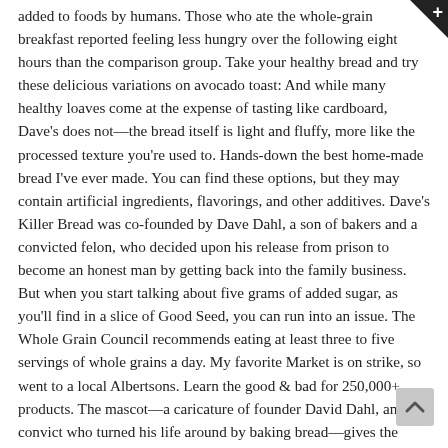added to foods by humans. Those who ate the whole-grain breakfast reported feeling less hungry over the following eight hours than the comparison group. Take your healthy bread and try these delicious variations on avocado toast: And while many healthy loaves come at the expense of tasting like cardboard, Dave's does not—the bread itself is light and fluffy, more like the processed texture you're used to. Hands-down the best home-made bread I've ever made. You can find these options, but they may contain artificial ingredients, flavorings, and other additives. Dave's Killer Bread was co-founded by Dave Dahl, a son of bakers and a convicted felon, who decided upon his release from prison to become an honest man by getting back into the family business. But when you start talking about five grams of added sugar, as you'll find in a slice of Good Seed, you can run into an issue. The Whole Grain Council recommends eating at least three to five servings of whole grains a day. My favorite Market is on strike, so went to a local Albertsons. Learn the good & bad for 250,000+ products. The mascot—a caricature of founder David Dahl, an ex-convict who turned his life around by baking bread—gives the brand an ultra-cool vibe. hide. Conflating organic wh with whole wheat is "the number one mistake people make when buying bread." — Photo: Woman searching for whole grains,